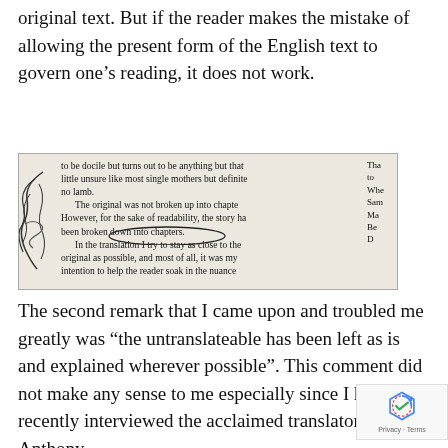original text. But if the reader makes the mistake of allowing the present form of the English text to govern one's reading, it does not work.
[Figure (photo): Photograph of a printed book page showing text about translation, with handwritten annotations including a circled phrase 'of readability' and scribbled hand drawing on the left margin. The text reads: 'to be docile but turns out to be anything but that little unsure like most single mothers but definitely no lamb. The original was not broken up into chapters. However, for the sake of readability, the story has been broken down into chapters. In the translation I try to stay as close to the original as possible, and most of all, it was my intention to help the reader soak in the nuance']
The second remark that I came upon and troubled me greatly was “the untranslateable has been left as is and explained wherever possible”. This comment did not make any sense to me especially since I had recently interviewed the acclaimed translator Anthony